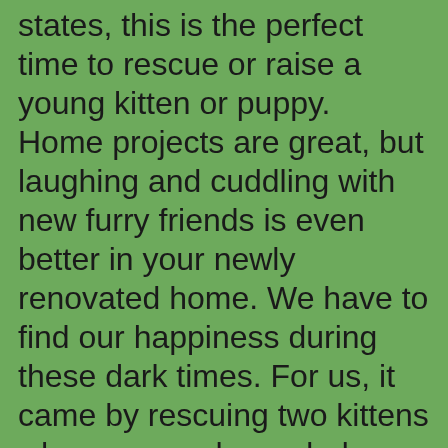states, this is the perfect time to rescue or raise a young kitten or puppy. Home projects are great, but laughing and cuddling with new furry friends is even better in your newly renovated home. We have to find our happiness during these dark times. For us, it came by rescuing two kittens who very much needed a home. We needed each other. It sounds cheesy, but we bonded quickly. Sometimes, without question, someone or something very special comes into your life. You don't question it. You accept it unconditionally. If you